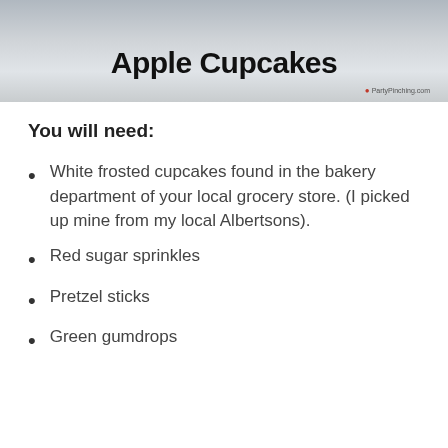[Figure (photo): Photo of apple cupcakes on a white surface with decorative apple-shaped cupcakes visible. Text overlay reads 'Apple Cupcakes' with a PartyPinching.com watermark.]
You will need:
White frosted cupcakes found in the bakery department of your local grocery store. (I picked up mine from my local Albertsons).
Red sugar sprinkles
Pretzel sticks
Green gumdrops